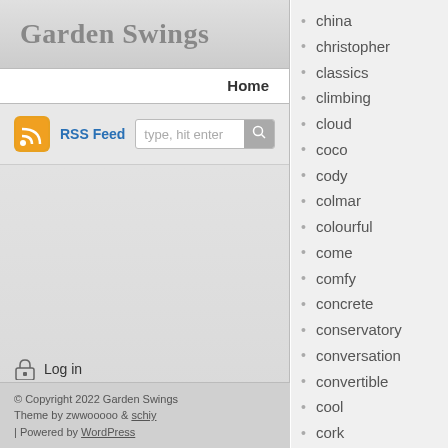Garden Swings
Home
RSS Feed  type, hit enter
china
christopher
classics
climbing
cloud
coco
cody
colmar
colourful
come
comfy
concrete
conservatory
conversation
convertible
cool
cork
costco
country
cover
Log in
© Copyright 2022 Garden Swings Theme by zwwooooo & schiy | Powered by WordPress